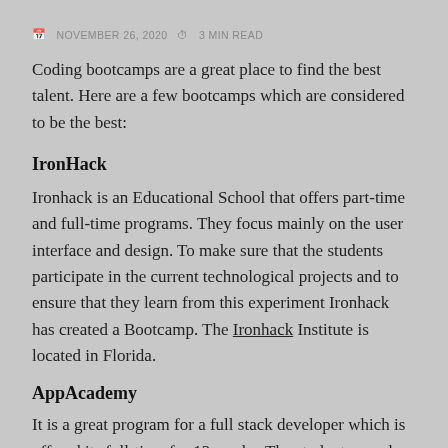NOVEMBER 26, 2020  3 MIN READ
Coding bootcamps are a great place to find the best talent. Here are a few bootcamps which are considered to be the best:
IronHack
Ironhack is an Educational School that offers part-time and full-time programs. They focus mainly on the user interface and design. To make sure that the students participate in the current technological projects and to ensure that they learn from this experiment Ironhack has created a Bootcamp. The Ironhack Institute is located in Florida.
AppAcademy
It is a great program for a full stack developer which is offered its full-time for 12 weeks. The students are also...